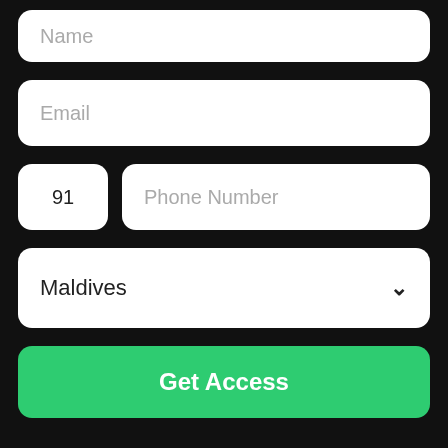[Figure (screenshot): Mobile app form UI on black background showing Name field (top, partially visible), Email input field, phone country code field showing '91' and Phone Number placeholder, a Maldives dropdown selector, and a green 'Get Access' button]
Book a vacation completely online
Book Now